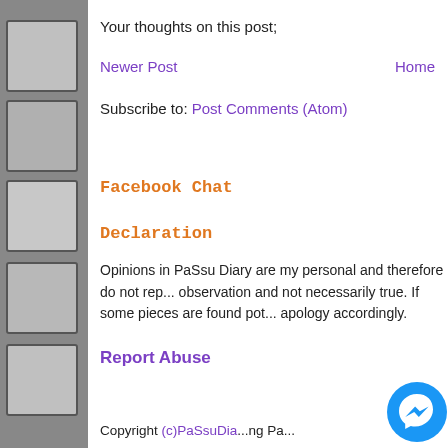Your thoughts on this post;
Newer Post    Home
Subscribe to: Post Comments (Atom)
Facebook Chat
Declaration
Opinions in PaSsu Diary are my personal and therefore do not rep... observation and not necessarily true. If some pieces are found pot... apology accordingly.
Report Abuse
Copyright (c)PaSsuDia...ng Pa...